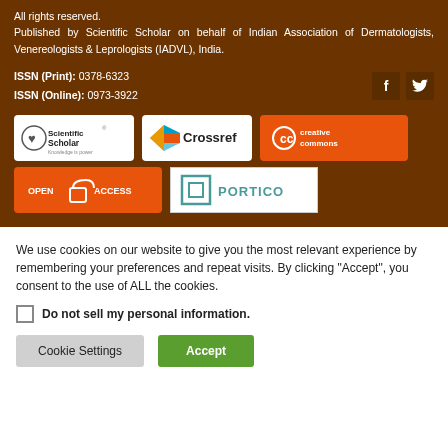All rights reserved.
Published by Scientific Scholar on behalf of Indian Association of Dermatologists, Venereologists & Leprologists (IADVL), India.
ISSN (Print): 0378-6323
ISSN (Online): 0973-3922
[Figure (logo): ScientificScholar Knowledge is power logo]
[Figure (logo): Crossref logo]
[Figure (logo): Creative Commons logo]
[Figure (logo): Open Access logo]
[Figure (logo): Portico logo]
We use cookies on our website to give you the most relevant experience by remembering your preferences and repeat visits. By clicking “Accept”, you consent to the use of ALL the cookies.
Do not sell my personal information.
Cookie Settings
Accept